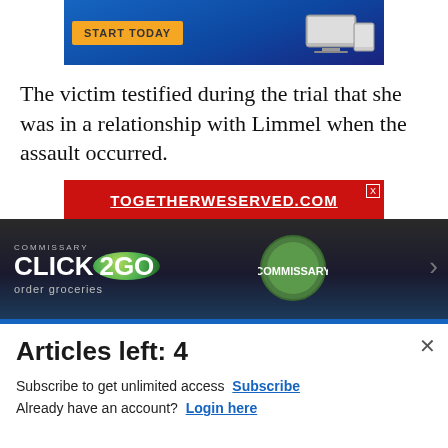[Figure (screenshot): Top advertisement banner with blue background, yellow 'START TODAY' button, and laptop/tablet devices on right]
The victim testified during the trial that she was in a relationship with Limmel when the assault occurred.
[Figure (screenshot): TOGETHERWESERVED.COM advertisement — red banner with white bold underlined text]
[Figure (screenshot): Commissary Click2Go advertisement — dark background with green logo, commissary badge, 'order groceries' text]
Articles left: 4
Subscribe to get unlimited access Subscribe Already have an account? Login here